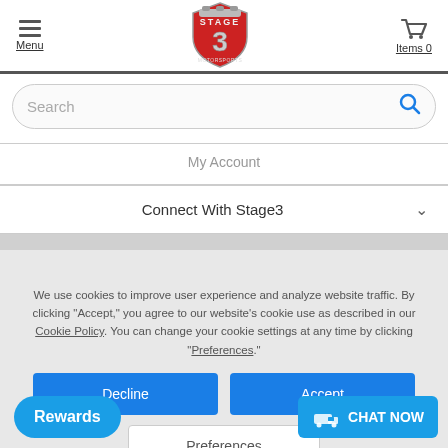[Figure (logo): Stage 3 Motorsports logo — red shield with chrome piston tops and bold number 3]
Menu
Items 0
Search
My Account
Connect With Stage3
We use cookies to improve user experience and analyze website traffic. By clicking "Accept," you agree to our website's cookie use as described in our Cookie Policy. You can change your cookie settings at any time by clicking "Preferences."
Decline
Accept
Preferences
Rewards
CHAT NOW